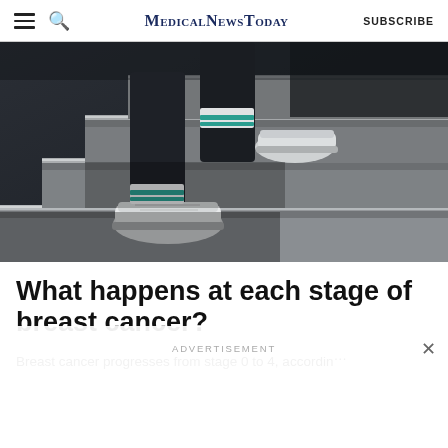MedicalNewsToday | SUBSCRIBE
[Figure (photo): Black and white photo of a person's legs climbing stone stairs, wearing white sneakers with teal/turquoise striped socks]
What happens at each stage of breast cancer?
Breast cancer progresses from stage 0 to 4, accordin…
ADVERTISEMENT